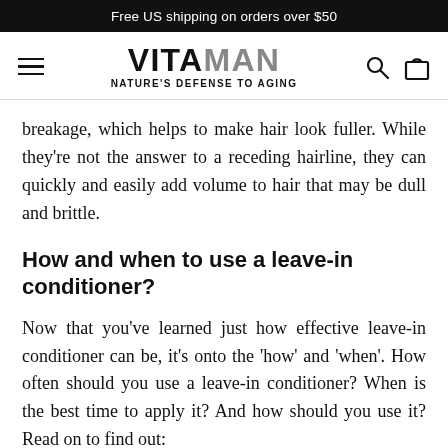Free US shipping on orders over $50
[Figure (logo): VITAMAN logo with tagline NATURE'S DEFENSE TO AGING, hamburger menu icon on left, search and cart icons on right]
breakage, which helps to make hair look fuller. While they're not the answer to a receding hairline, they can quickly and easily add volume to hair that may be dull and brittle.
How and when to use a leave-in conditioner?
Now that you've learned just how effective leave-in conditioner can be, it's onto the 'how' and 'when'. How often should you use a leave-in conditioner? When is the best time to apply it? And how should you use it? Read on to find out: